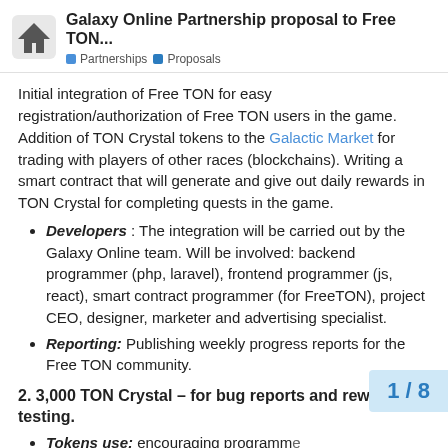Galaxy Online Partnership proposal to Free TON... | Partnerships | Proposals
Initial integration of Free TON for easy registration/authorization of Free TON users in the game. Addition of TON Crystal tokens to the Galactic Market for trading with players of other races (blockchains). Writing a smart contract that will generate and give out daily rewards in TON Crystal for completing quests in the game.
Developers: The integration will be carried out by the Galaxy Online team. Will be involved: backend programmer (php, laravel), frontend programmer (js, react), smart contract programmer (for FreeTON), project CEO, designer, marketer and advertising specialist.
Reporting: Publishing weekly progress reports for the Free TON community.
2. 3,000 TON Crystal – for bug reports and rewards for testing.
Tokens use: encouraging programme search for bugs and vulnerabilities.
1 / 8